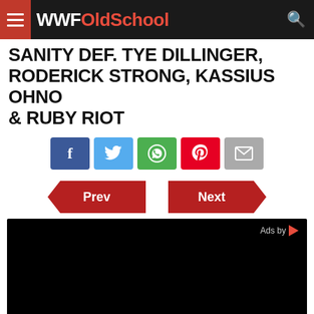WWFOldSchool
SANITY DEF. TYE DILLINGER, RODERICK STRONG, KASSIUS OHNO & RUBY RIOT
[Figure (infographic): Social sharing buttons: Facebook (blue), Twitter (light blue), WhatsApp (green), Pinterest (red), Email (grey)]
[Figure (infographic): Navigation buttons: Prev (chevron shaped, dark red) and Next (chevron shaped, dark red)]
[Figure (screenshot): Embedded video player with black background, Ads by label with red arrow in top right, progress bar near bottom, pause button (two vertical bars) at bottom left]